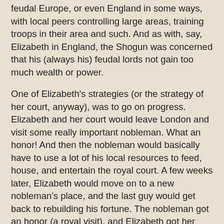feudal Europe, or even England in some ways, with local peers controlling large areas, training troops in their area and such. And as with, say, Elizabeth in England, the Shogun was concerned that his (always his) feudal lords not gain too much wealth or power.
One of Elizabeth's strategies (or the strategy of her court, anyway), was to go on progress. Elizabeth and her court would leave London and visit some really important nobleman. What an honor! And then the nobleman would basically have to use a lot of his local resources to feed, house, and entertain the royal court. A few weeks later, Elizabeth would move on to a new nobleman's place, and the last guy would get back to rebuilding his fortune. The nobleman got an honor (a royal visit), and Elizabeth got her court fed, housed, and entertained, and the nobleman had a little less money to toss around to buy off people, raise an army, and so on. (There are some pretty cool records of the entertainments and such for Elizabethan progresses; note that progresses had other, WAY more official justifications and such, but economics are in the background.)